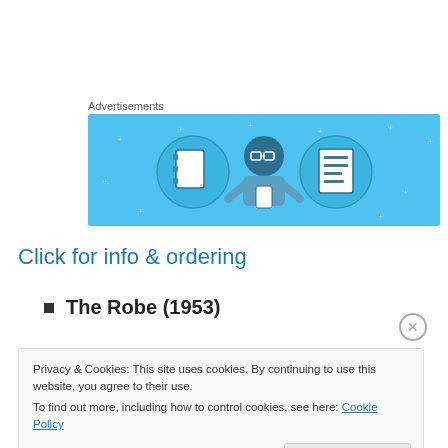Advertisements
[Figure (illustration): Advertisement banner with light blue background showing a cartoon person holding a phone, flanked by two circular icons: one with a notebook and one with a lined document.]
Click for info & ordering
The Robe (1953)
Privacy & Cookies: This site uses cookies. By continuing to use this website, you agree to their use.
To find out more, including how to control cookies, see here: Cookie Policy